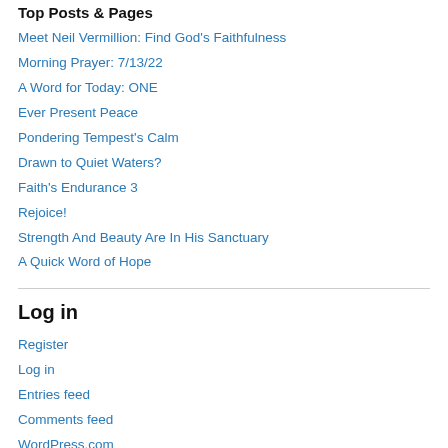Top Posts & Pages
Meet Neil Vermillion: Find God's Faithfulness
Morning Prayer: 7/13/22
A Word for Today: ONE
Ever Present Peace
Pondering Tempest's Calm
Drawn to Quiet Waters?
Faith's Endurance 3
Rejoice!
Strength And Beauty Are In His Sanctuary
A Quick Word of Hope
Log in
Register
Log in
Entries feed
Comments feed
WordPress.com